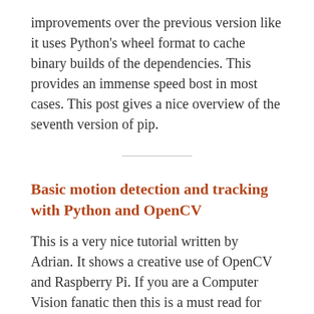improvements over the previous version like it uses Python's wheel format to cache binary builds of the dependencies. This provides an immense speed bost in most cases. This post gives a nice overview of the seventh version of pip.
Basic motion detection and tracking with Python and OpenCV
This is a very nice tutorial written by Adrian. It shows a creative use of OpenCV and Raspberry Pi. If you are a Computer Vision fanatic then this is a must read for you!